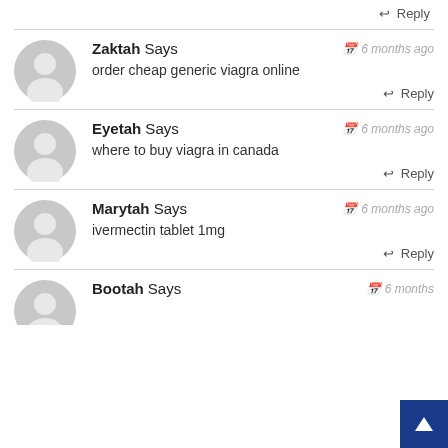↩ Reply
Zaktah Says — 6 months ago
order cheap generic viagra online
↩ Reply
Eyetah Says — 6 months ago
where to buy viagra in canada
↩ Reply
Marytah Says — 6 months ago
ivermectin tablet 1mg
↩ Reply
Bootah Says — 6 months ago